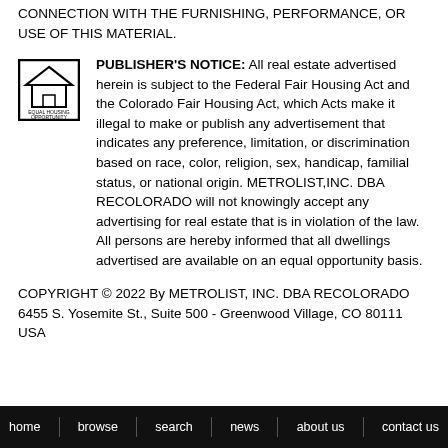CONNECTION WITH THE FURNISHING, PERFORMANCE, OR USE OF THIS MATERIAL.
PUBLISHER'S NOTICE: All real estate advertised herein is subject to the Federal Fair Housing Act and the Colorado Fair Housing Act, which Acts make it illegal to make or publish any advertisement that indicates any preference, limitation, or discrimination based on race, color, religion, sex, handicap, familial status, or national origin. METROLIST,INC. DBA RECOLORADO will not knowingly accept any advertising for real estate that is in violation of the law. All persons are hereby informed that all dwellings advertised are available on an equal opportunity basis.
COPYRIGHT © 2022 By METROLIST, INC. DBA RECOLORADO 6455 S. Yosemite St., Suite 500 - Greenwood Village, CO 80111 USA
home   browse   search   news   about us   contact us